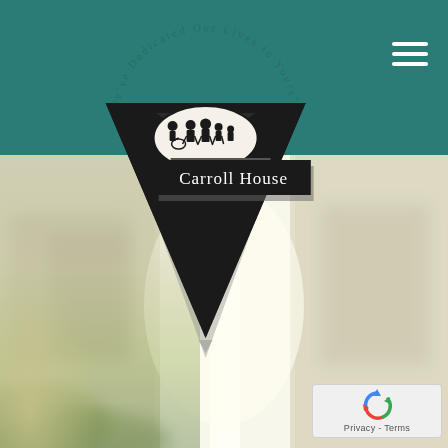[Figure (logo): Carroll House logo: dark triangle shape with circular text 'We've Dedicated Our Lives to Yours' around the top, an oval with family silhouettes, and a black rectangular banner reading 'Carroll House']
[Figure (photo): Blurred outdoor background photo showing a street or building exterior with soft warm lighting and greenery at the bottom left]
[Figure (other): Google reCAPTCHA badge showing the reCAPTCHA logo and text 'Privacy - Terms']